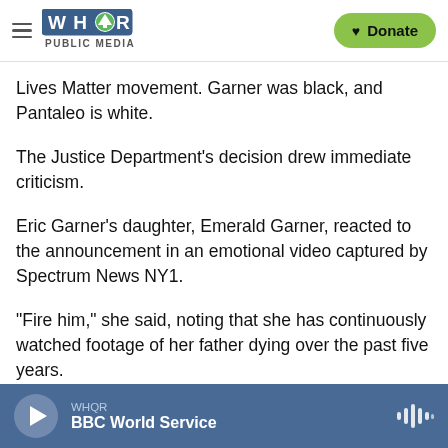WHQR PUBLIC MEDIA | Donate
Lives Matter movement. Garner was black, and Pantaleo is white.
The Justice Department's decision drew immediate criticism.
Eric Garner's daughter, Emerald Garner, reacted to the announcement in an emotional video captured by Spectrum News NY1.
"Fire him," she said, noting that she has continuously watched footage of her father dying over the past five years.
WHQR — BBC World Service